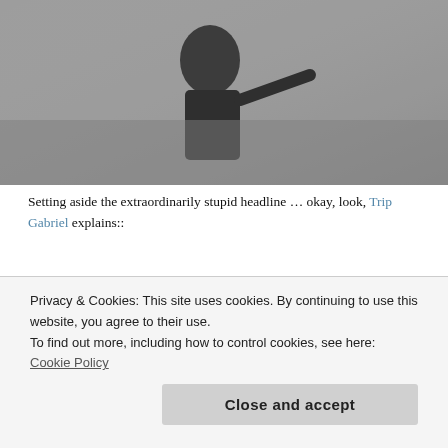[Figure (photo): Black and white photo of a person at a podium pointing, crowd in background]
Setting aside the extraordinarily stupid headline … okay, look, Trip Gabriel explains::
The meeting of Mr. Pence, a Republican, and Mr. Kaine, a Democrat, two pensive and little-known nominees, might be the least anticipated vice-presidential debate in 40 years.
Pensive?
I'm sorry,
[Figure (photo): Black and white blurred photo of a person]
Privacy & Cookies: This site uses cookies. By continuing to use this website, you agree to their use.
To find out more, including how to control cookies, see here: Cookie Policy
Close and accept